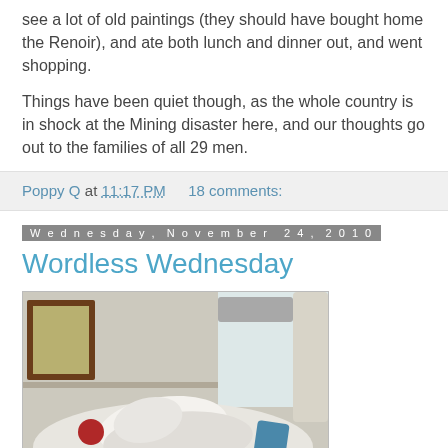see a lot of old paintings (they should have bought home the Renoir), and ate both lunch and dinner out, and went shopping.
Things have been quiet though, as the whole country is in shock at the Mining disaster here, and our thoughts go out to the families of all 29 men.
Poppy Q at 11:17 PM   18 comments:
Wednesday, November 24, 2010
Wordless Wednesday
[Figure (photo): Photo of a bedroom scene showing a person on a bed with a pillow, a picture frame on the wall, and a window with curtains in the background.]